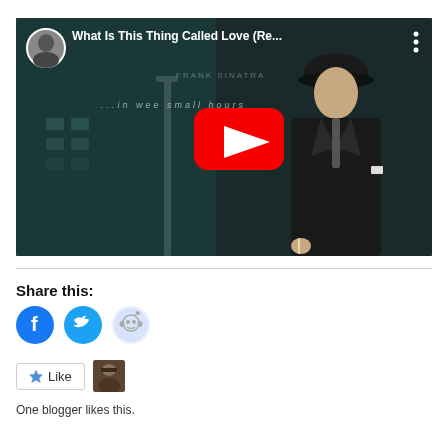[Figure (screenshot): YouTube video thumbnail for 'What Is This Thing Called Love (Re...' featuring Frank Sinatra album art from 'In the Wee Small Hours'. Dark teal background with Sinatra figure in suit and hat. Red YouTube play button in center. Channel avatar in top left corner.]
Share this:
[Figure (infographic): Social sharing icons: Facebook (blue circle with F), Twitter (blue circle with bird), Reddit (light blue circle with alien logo)]
[Figure (infographic): Like button with star icon and blogger avatar photo]
One blogger likes this.